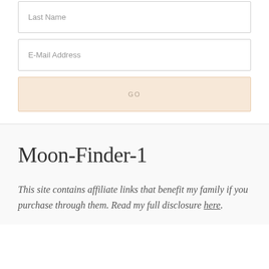Last Name
E-Mail Address
GO
Moon-Finder-1
This site contains affiliate links that benefit my family if you purchase through them. Read my full disclosure here.